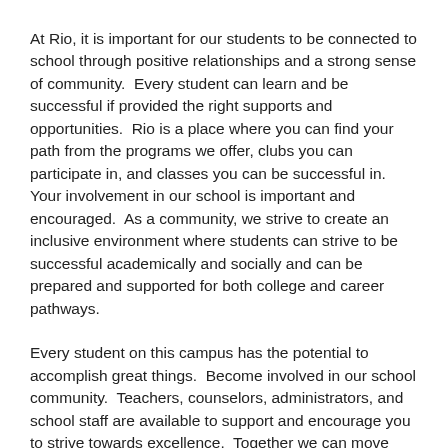At Rio, it is important for our students to be connected to school through positive relationships and a strong sense of community.  Every student can learn and be successful if provided the right supports and opportunities.  Rio is a place where you can find your path from the programs we offer, clubs you can participate in, and classes you can be successful in.  Your involvement in our school is important and encouraged.  As a community, we strive to create an inclusive environment where students can strive to be successful academically and socially and can be prepared and supported for both college and career pathways.
Every student on this campus has the potential to accomplish great things.  Become involved in our school community.  Teachers, counselors, administrators, and school staff are available to support and encourage you to strive towards excellence.  Together we can move forward and focus on learning and growing as individuals and as a community.